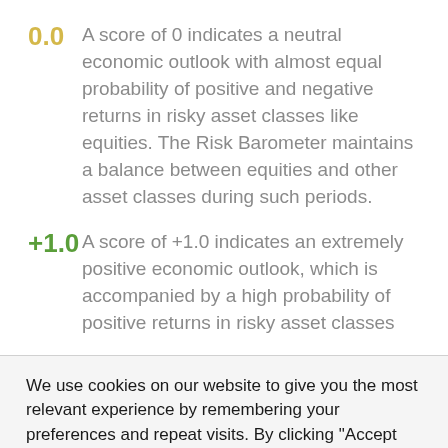0.0   A score of 0 indicates a neutral economic outlook with almost equal probability of positive and negative returns in risky asset classes like equities. The Risk Barometer maintains a balance between equities and other asset classes during such periods.
+1.0  A score of +1.0 indicates an extremely positive economic outlook, which is accompanied by a high probability of positive returns in risky asset classes
We use cookies on our website to give you the most relevant experience by remembering your preferences and repeat visits. By clicking "Accept All", you consent to the use of ALL the cookies. However, you may visit "Cookie Settings" to provide a controlled consent.